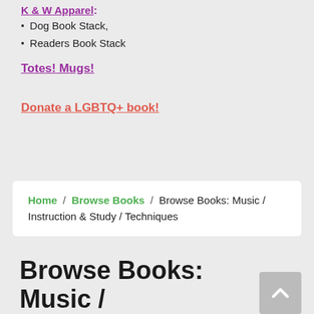K & W Apparel:
Dog Book Stack,
Readers Book Stack
Totes! Mugs!
Donate a LGBTQ+ book!
Home / Browse Books / Browse Books: Music / Instruction & Study / Techniques
Browse Books: Music / Instruction & Study /